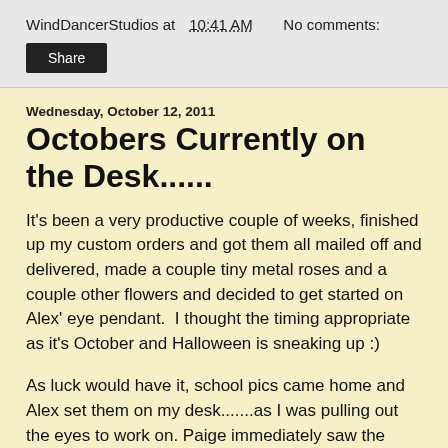WindDancerStudios at 10:41 AM    No comments:
Share
Wednesday, October 12, 2011
Octobers Currently on the Desk......
It's been a very productive couple of weeks, finished up my custom orders and got them all mailed off and delivered, made a couple tiny metal roses and a couple other flowers and decided to get started on Alex' eye pendant.  I thought the timing appropriate as it's October and Halloween is sneaking up :)
As luck would have it, school pics came home and Alex set them on my desk.......as I was pulling out the eyes to work on. Paige immediately saw the photo op, what are sisters for if not for spotting photo ops lol